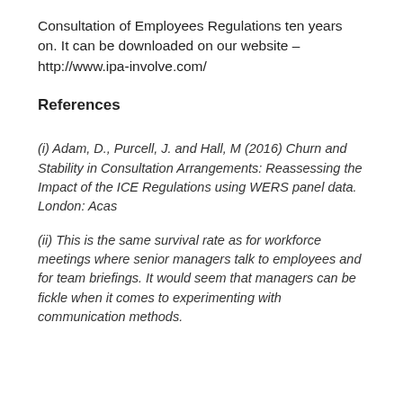Consultation of Employees Regulations ten years on. It can be downloaded on our website – http://www.ipa-involve.com/
References
(i) Adam, D., Purcell, J. and Hall, M (2016) Churn and Stability in Consultation Arrangements: Reassessing the Impact of the ICE Regulations using WERS panel data. London: Acas
(ii) This is the same survival rate as for workforce meetings where senior managers talk to employees and for team briefings. It would seem that managers can be fickle when it comes to experimenting with communication methods.